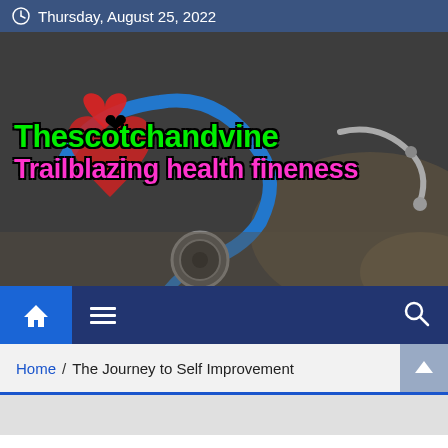Thursday, August 25, 2022
[Figure (illustration): Hero banner image showing a red heart with a blue stethoscope on a dark background, with website logo and tagline overlay. Logo text: 'Thescotchandvine' in green with black outline, 'Trailblazing health fineness' in pink/magenta with black outline. A small red heart icon appears to the left of the logo text.]
Home / The Journey to Self Improvement
[Figure (photo): Bottom strip showing the beginning of another image section]